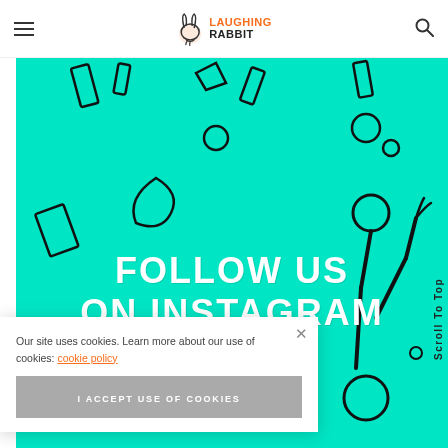≡  LAUGHING RABBIT  🔍
[Figure (illustration): Teal/cyan background Instagram follow banner with cartoon hand-drawn doodles (tools, shapes, a hand holding something) and large bold white text reading FOLLOW US ON INSTAGRAM. A 'Scroll To Top' label appears vertically on the right side.]
Our site uses cookies. Learn more about our use of cookies: cookie policy
I ACCEPT USE OF COOKIES